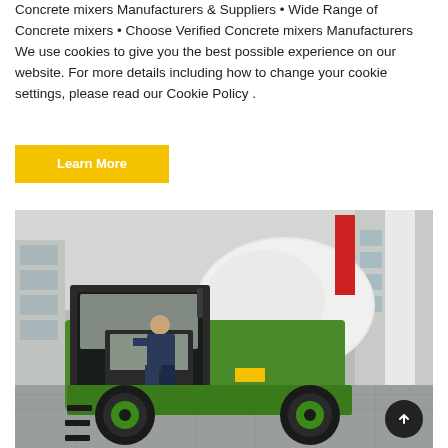Concrete mixers Manufacturers & Suppliers • Wide Range of Concrete mixers • Choose Verified Concrete mixers Manufacturers We use cookies to give you the best possible experience on our website. For more details including how to change your cookie settings, please read our Cookie Policy .
Learn More
[Figure (photo): A man in business attire sitting in the cab of a green self-loading concrete mixer truck, photographed at what appears to be an indoor trade show or exhibition hall. The truck is bright green with large black wheels and a white mixing drum visible behind the cab.]